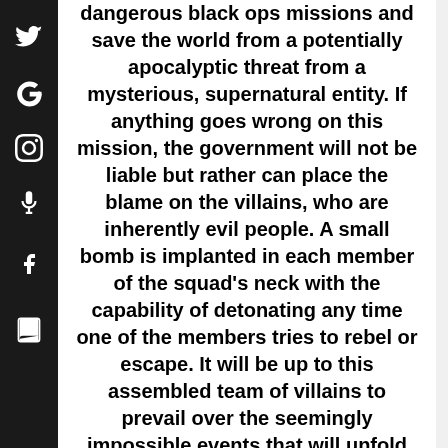dangerous black ops missions and save the world from a potentially apocalyptic threat from a mysterious, supernatural entity. If anything goes wrong on this mission, the government will not be liable but rather can place the blame on the villains, who are inherently evil people. A small bomb is implanted in each member of the squad's neck with the capability of detonating any time one of the members tries to rebel or escape. It will be up to this assembled team of villains to prevail over the seemingly impossible events that will unfold before them, in what many deem to be a "suicide mission".